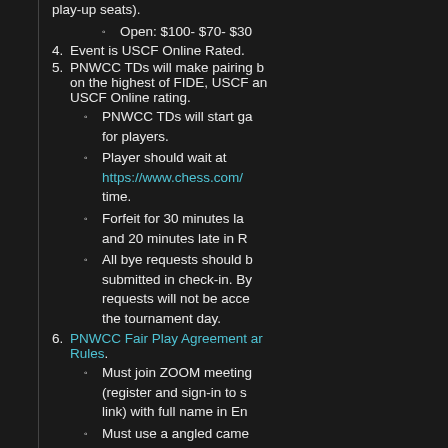play-up seats).
Open: $100- $70- $30
4. Event is USCF Online Rated.
5. PNWCC TDs will make pairing b... on the highest of FIDE, USCF an... USCF Online rating.
PNWCC TDs will start ga... for players.
Player should wait at https://www.chess.com/... time.
Forfeit for 30 minutes la... and 20 minutes late in R...
All bye requests should b... submitted in check-in. By... requests will not be acce... the tournament day.
6. PNWCC Fair Play Agreement ar... Rules.
Must join ZOOM meeting... (register and sign-in to s... link) with full name in En...
Must use a angled came... cover player and all com... screens.